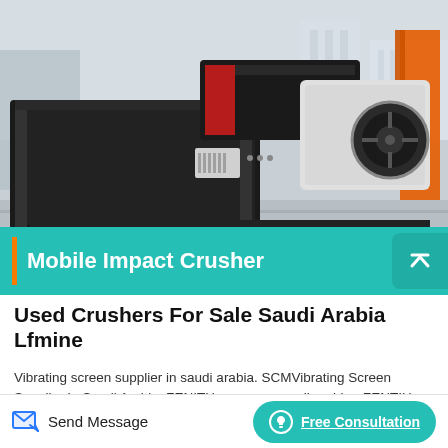[Figure (photo): Large black mobile impact crusher machine on a flatbed trailer in an industrial yard with buildings in the background. The machine has a red-accented conveyor belt and white flywheel components.]
Mobile Impact Crusher
Used Crushers For Sale Saudi Arabia Lfmine
Vibrating screen supplier in saudi arabia. SCMVibrating Screen Supplier In Saudi Arabia, ZENITH company saudi arabia - ZENTIH